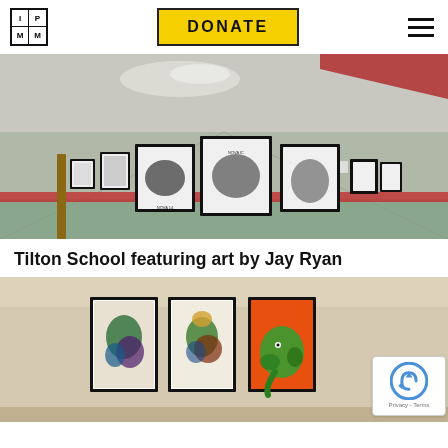[Figure (logo): IPM logo: 2x2 grid of squares with letters I, P, M, M]
[Figure (other): Yellow DONATE button with black border and text]
[Figure (photo): Panoramic photo of a school hallway with framed artwork by Jay Ryan displayed on the walls]
Tilton School featuring art by Jay Ryan
[Figure (photo): Photograph of framed colorful art posters by Jay Ryan displayed on a wall, with a reCAPTCHA Privacy-Terms badge overlay in the bottom right]